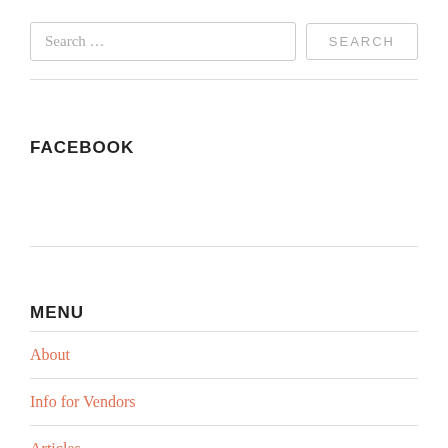Search …
SEARCH
FACEBOOK
MENU
About
Info for Vendors
Articles
Food